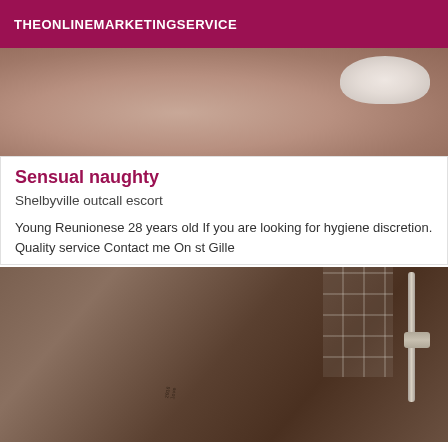THEONLINEMARKETINGSERVICE
[Figure (photo): Partial view of a person lying on white bedding with white lace underwear visible]
Sensual naughty
Shelbyville outcall escort
Young Reunionese 28 years old If you are looking for hygiene discretion. Quality service Contact me On st Gille
[Figure (photo): Close-up photo of a person's neck and jaw with a tattoo, near a shower fixture and tiled wall]